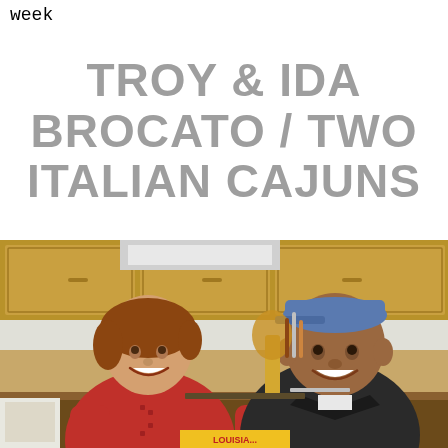week
TROY & IDA BROCATO / TWO ITALIAN CAJUNS
[Figure (photo): Two people (a woman in a red chef coat and a man in a dark jacket with a blue cap) smiling in a kitchen setting with wooden cabinets, cooking utensils and ingredients visible.]